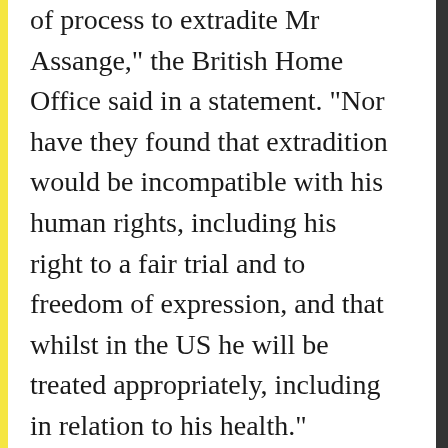of process to extradite Mr Assange," the British Home Office said in a statement. "Nor have they found that extradition would be incompatible with his human rights, including his right to a fair trial and to freedom of expression, and that whilst in the US he will be treated appropriately, including in relation to his health."
Press freedom and human rights groups have condemned the decision, arguing that Assange is at risk of torture and is being silenced for public service journalism.
Here, what to know about the story so far: